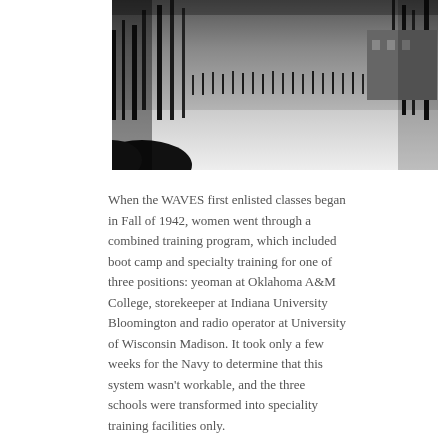[Figure (photo): Black and white photograph showing a winter scene with people and bare trees in the snow, cropped at the top of the page]
When the WAVES first enlisted classes began in Fall of 1942, women went through a combined training program, which included boot camp and specialty training for one of three positions: yeoman at Oklahoma A&M College, storekeeper at Indiana University Bloomington and radio operator at University of Wisconsin Madison. It took only a few weeks for the Navy to determine that this system wasn't workable, and the three schools were transformed into speciality training facilities only.